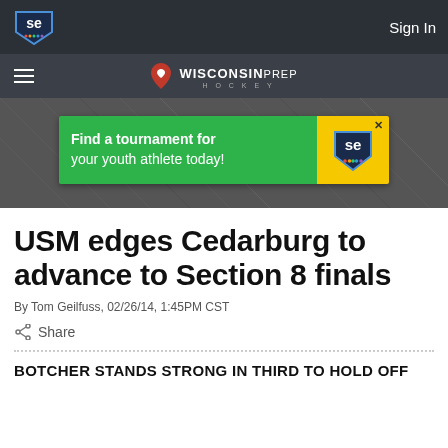SE (SportsEngine / NBC) — Sign In
Wisconsin Prep Hockey
[Figure (screenshot): Hero background image: dark textured surface, with a green and yellow advertisement banner reading 'Find a tournament for your youth athlete today!' with an SE logo on the yellow side.]
USM edges Cedarburg to advance to Section 8 finals
By Tom Geilfuss, 02/26/14, 1:45PM CST
Share
BOTCHER STANDS STRONG IN THIRD TO HOLD OFF